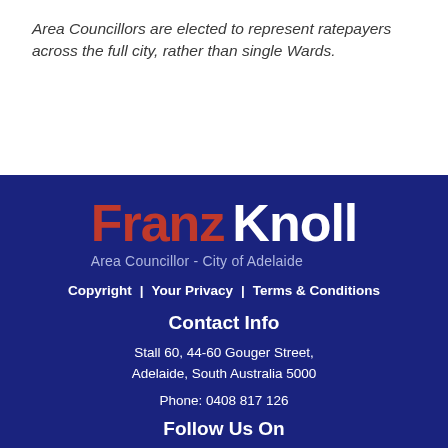Area Councillors are elected to represent ratepayers across the full city, rather than single Wards.
[Figure (logo): Franz Knoll logo with 'Franz' in red and 'Knoll' in white bold text, with subtitle 'Area Councillor - City of Adelaide']
Copyright | Your Privacy | Terms & Conditions
Contact Info
Stall 60, 44-60 Gouger Street, Adelaide, South Australia 5000
Phone: 0408 817 126
Follow Us On
[Figure (illustration): Facebook and LinkedIn social media icons in white on white square backgrounds]